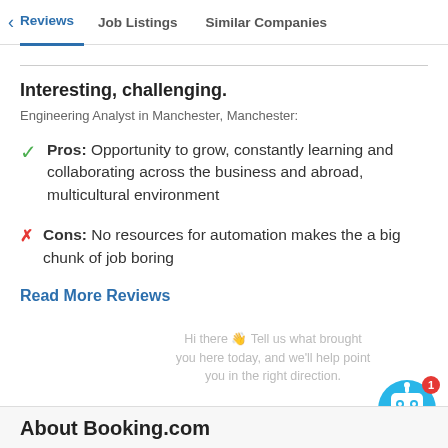Reviews | Job Listings | Similar Companies
Interesting, challenging.
Engineering Analyst in Manchester, Manchester:
Pros: Opportunity to grow, constantly learning and collaborating across the business and abroad, multicultural environment
Cons: No resources for automation makes the a big chunk of job boring
Read More Reviews
Hi there 👋 Tell us what brought you here today, and we'll help point you in the right direction.
About Booking.com